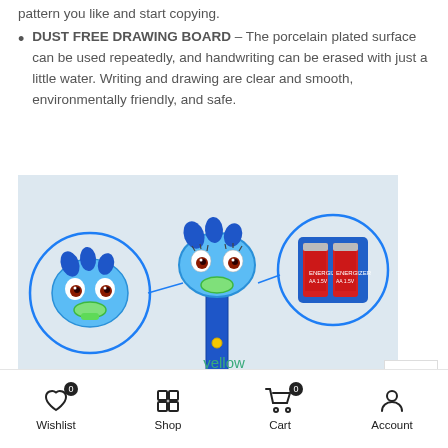pattern you like and start copying.
DUST FREE DRAWING BOARD – The porcelain plated surface can be used repeatedly, and handwriting can be erased with just a little water. Writing and drawing are clear and smooth, environmentally friendly, and safe.
[Figure (photo): Product photo of a blue dinosaur-shaped children's drawing projector toy with two callout circles: one showing the dinosaur head holding a green marker, and one showing a battery compartment with two red batteries. The toy has a white drawing board on a stand.]
yellow
Wishlist  Shop  Cart  Account